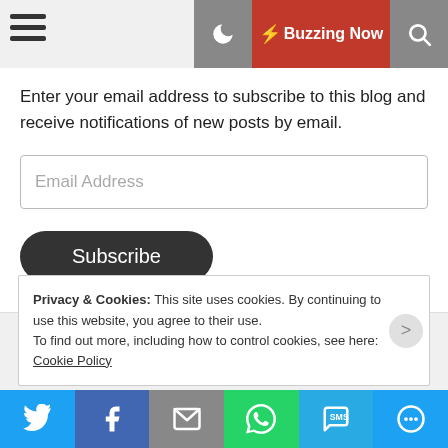☰  🌙  ⚡ Buzzing Now  🔍
Enter your email address to subscribe to this blog and receive notifications of new posts by email.
Email Address
Subscribe
Privacy & Cookies: This site uses cookies. By continuing to use this website, you agree to their use. To find out more, including how to control cookies, see here: Cookie Policy
Twitter | Facebook | Email | WhatsApp | SMS | More